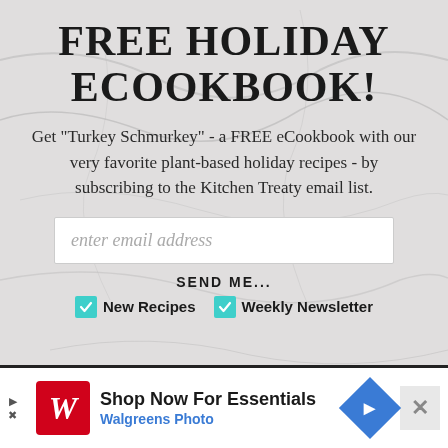FREE HOLIDAY ECOOKBOOK!
Get "Turkey Schmurkey" - a FREE eCookbook with our very favorite plant-based holiday recipes - by subscribing to the Kitchen Treaty email list.
enter email address
SEND ME...
New Recipes  Weekly Newsletter
[Figure (screenshot): Walgreens Photo advertisement banner: 'Shop Now For Essentials / Walgreens Photo' with logo, navigation arrow icon, and close button]